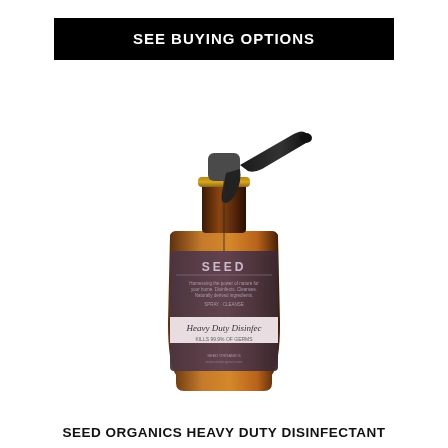SEE BUYING OPTIONS
[Figure (photo): Amber glass spray bottle with black trigger pump labeled SEED Heavy Duty Disinfectant, with a dark brownish-purple label.]
SEED ORGANICS HEAVY DUTY DISINFECTANT